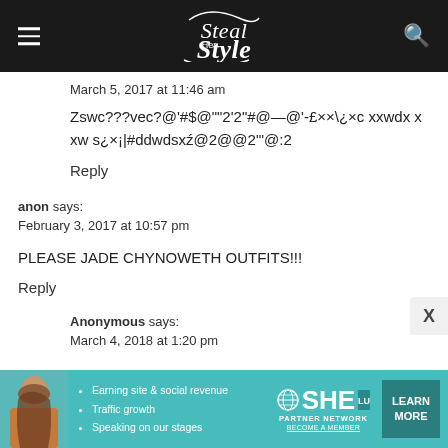Steal Her Style
March 5, 2017 at 11:46 am
Zswc???vec?@'#$@""2'2"#@—@'-£××\¿×c xxwdx x xw s¿×¡|#ddwdsxź@2@@2"'@:2
Reply
anon says:
February 3, 2017 at 10:57 pm
PLEASE JADE CHYNOWETH OUTFITS!!!
Reply
Anonymous says:
March 4, 2018 at 1:20 pm
[Figure (infographic): SHE Partner Network advertisement banner with teal background, woman photo, bullet points about earning site & social revenue, traffic growth, speaking on stages, SHE partner network logo, and Learn More button]